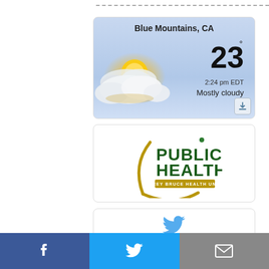[Figure (screenshot): Weather widget showing Blue Mountains, CA, 23 degrees, 2:24 pm EDT, Mostly cloudy, with partly cloudy icon]
[Figure (logo): Public Health Grey Bruce Health Unit logo - golden arc with green PUBLIC HEALTH text and gold GREY BRUCE HEALTH UNIT text]
[Figure (screenshot): Partial third card showing Twitter bird icon]
[Figure (infographic): Social sharing bar with Facebook (blue), Twitter (light blue), and Email (grey) buttons]